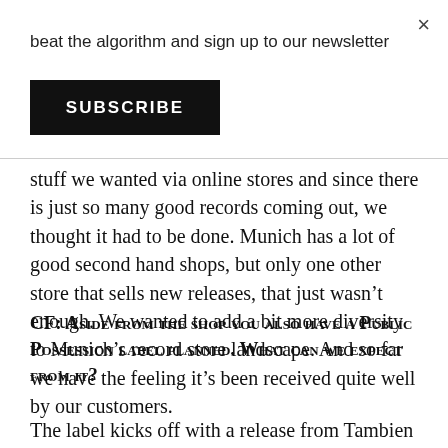beat the algorithm and sign up to our newsletter
SUBSCRIBE
stuff we wanted via online stores and since there is just so many good records coming out, we thought it had to be done. Munich has a lot of good second hand shops, but only one other store that sells new releases, that just wasn’t enough. We wanted to add a bit more diversity to Munich’s record store landscape. And so far we have the feeling it’s been received quite well by our customers.
CF: Aside from the shop you also have a Public Possession label planned. What can we expect from it?
The label kicks off with a release from Tambien (which is a